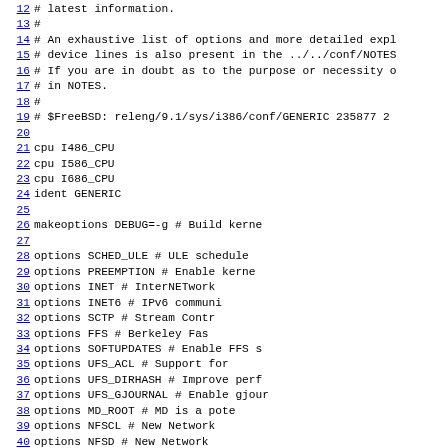Source code / configuration file listing, lines 12-43 of FreeBSD GENERIC kernel config for i386
12 # latest information.
13 #
14 # An exhaustive list of options and more detailed expl
15 # device lines is also present in the ../../conf/NOTES
16 # If you are in doubt as to the purpose or necessity o
17 # in NOTES.
18 #
19 # $FreeBSD: releng/9.1/sys/i386/conf/GENERIC 235877 2
20
21 cpu              I486_CPU
22 cpu              I586_CPU
23 cpu              I686_CPU
24 ident            GENERIC
25
26 makeoptions      DEBUG=-g                # Build kernel
27
28 options          SCHED_ULE               # ULE schedule
29 options          PREEMPTION              # Enable kerne
30 options          INET                    # InterNETwork
31 options          INET6                   # IPv6 communi
32 options          SCTP                    # Stream Contr
33 options          FFS                     # Berkeley Fas
34 options          SOFTUPDATES             # Enable FFS s
35 options          UFS_ACL                 # Support for
36 options          UFS_DIRHASH             # Improve perf
37 options          UFS_GJOURNAL            # Enable gjour
38 options          MD_ROOT                 # MD is a pote
39 options          NFSCL                   # New Network
40 options          NFSD                    # New Network
41 options          NFSLOCKD                # Network Lock
42 options          NFS_ROOT                # NFS usable a
43 options          MSDOSFS                 # MSDOS Filesys